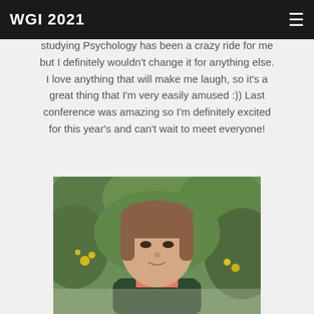WGI 2021
Hello! I'm a third year student at Warsaw ... nal Studies in Psychology. So far, studying Psychology has been a crazy ride for me but I definitely wouldn't change it for anything else. I love anything that will make me laugh, so it's a great thing that I'm very easily amused :)) Last conference was amazing so I'm definitely excited for this year's and can't wait to meet everyone!
[Figure (photo): Portrait photo of a young woman with bangs, standing outdoors in front of green foliage with yellow flowers, wearing a dark green patterned top.]